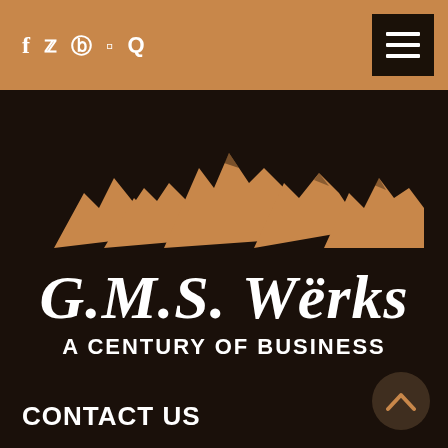f  ☛  ⊕  ◎  Q  [menu]
[Figure (logo): G.M.S. Werks logo with mountain range illustration in tan/orange on dark brown background, with text 'G.M.S. Wërks' in italic serif font and tagline 'A CENTURY OF BUSINESS' in bold uppercase]
G.M.S. Wërks
A CENTURY OF BUSINESS
CONTACT US